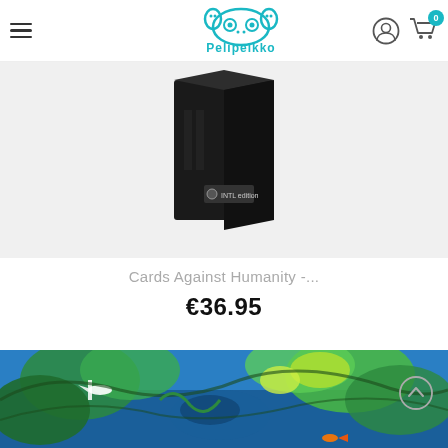Pelipeikko — navigation header with hamburger menu, logo, user icon, and cart (0)
[Figure (photo): Black box of Cards Against Humanity game (INTL edition) on light gray background, viewed from top-front angle]
Cards Against Humanity -...
€36.95
[Figure (photo): Colorful jungle/nature scene painting with blue tones, birds and foliage visible]